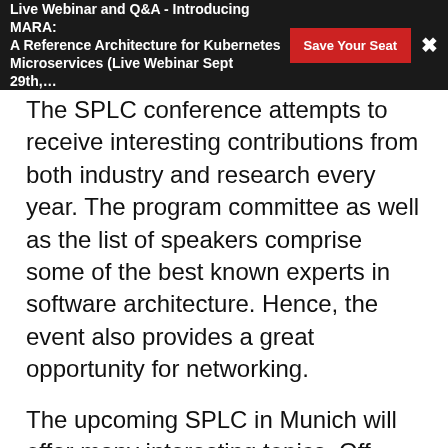Live Webinar and Q&A - Introducing MARA: A Reference Architecture for Kubernetes Microservices (Live Webinar Sept 29th,… Save Your Seat ×
The SPLC conference attempts to receive interesting contributions from both industry and research every year. The program committee as well as the list of speakers comprise some of the best known experts in software architecture. Hence, the event also provides a great opportunity for networking.
The upcoming SPLC in Munich will offer many interesting topics. Off course, there will be a large program full of submitted papers.  And there will be a whole bunch of tutorials. For example, ones about development, operation, or requirements management for  as well as tutorials covering tools, industry trends, DSLs, and real-world experiences.
Keynotes will be given by